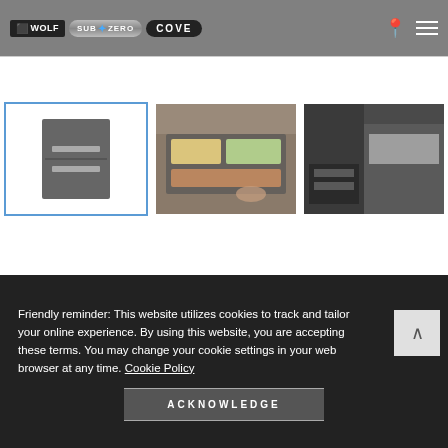WOLF SUB-ZERO COVE — navigation header with location and menu icons
[Figure (screenshot): Selected thumbnail showing a dark stainless steel drawer refrigerator appliance, highlighted with a blue border]
[Figure (photo): Open refrigerator drawer showing food items inside]
[Figure (photo): Kitchen environment showing the appliance installed in dark cabinetry]
Friendly reminder: This website utilizes cookies to track and tailor your online experience. By using this website, you are accepting these terms. You may change your cookie settings in your web browser at any time. Cookie Policy
ACKNOWLEDGE